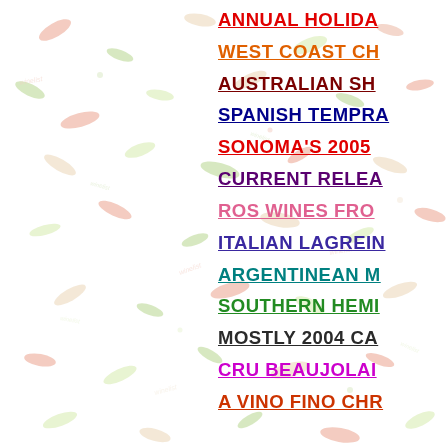ANNUAL HOLIDA
WEST COAST CH
AUSTRALIAN SH
SPANISH TEMPRA
SONOMA'S 2005
CURRENT RELEA
ROS WINES FRO
ITALIAN LAGREIN
ARGENTINEAN M
SOUTHERN HEMI
MOSTLY 2004 CA
CRU BEAUJOLAI
A VINO FINO CHR